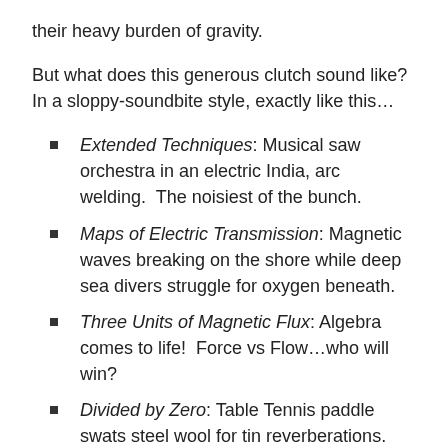their heavy burden of gravity.
But what does this generous clutch sound like?  In a sloppy-soundbite style, exactly like this…
Extended Techniques: Musical saw orchestra in an electric India, arc welding.  The noisiest of the bunch.
Maps of Electric Transmission: Magnetic waves breaking on the shore while deep sea divers struggle for oxygen beneath.
Three Units of Magnetic Flux: Algebra comes to life!  Force vs Flow…who will win?
Divided by Zero: Table Tennis paddle swats steel wool for tin reverberations.  For ex-punks.
Random Systems: Stavanger nightlife re-imagined for Tubular Bells.  Seriously pretty.
Harmonic Half Life: Almost a found-sound documenting